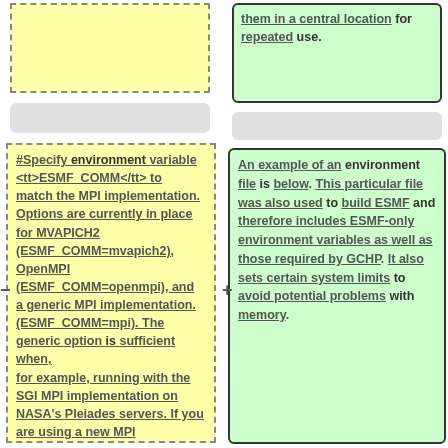[Figure (other): Yellow dashed box - top left, partially visible, empty content area]
[Figure (other): Gray rounded box - left middle, empty]
#Specify environment variable <tt>ESMF_COMM</tt> to match the MPI implementation. Options are currently in place for MVAPICH2 (ESMF_COMM=mvapich2), OpenMPI (ESMF_COMM=openmpi), and a generic MPI implementation (ESMF_COMM=mpi). The generic option is sufficient when, for example, running with the SGI MPI implementation on NASA's Pleiades servers. If you are using a new MPI implementation not covered by one of these options, we
them in a central location for repeated use.
[Figure (other): Gray rounded box - right middle, empty]
An example of an environment file is below. This particular file was also used to build ESMF and therefore includes ESMF-only environment variables as well as those required by GCHP. It also sets certain system limits to avoid potential problems with memory.